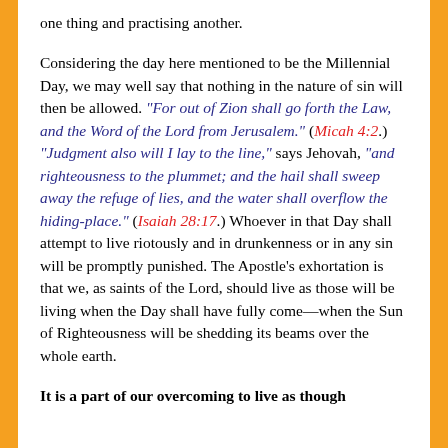one thing and practising another.
Considering the day here mentioned to be the Millennial Day, we may well say that nothing in the nature of sin will then be allowed. “For out of Zion shall go forth the Law, and the Word of the Lord from Jerusalem.” (Micah 4:2.) “Judgment also will I lay to the line,” says Jehovah, “and righteousness to the plummet; and the hail shall sweep away the refuge of lies, and the water shall overflow the hiding-place.” (Isaiah 28:17.) Whoever in that Day shall attempt to live riotously and in drunkenness or in any sin will be promptly punished. The Apostle’s exhortation is that we, as saints of the Lord, should live as those will be living when the Day shall have fully come—when the Sun of Righteousness will be shedding its beams over the whole earth.
It is a part of our overcoming to live as though